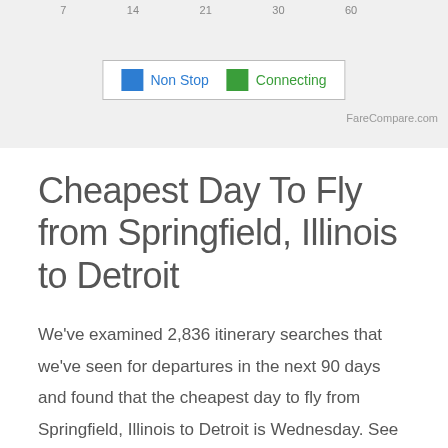[Figure (other): Partial bar chart showing flight price data with axis labels (7, 14, 21, 30, 60) at top, and a legend box showing Non Stop (blue) and Connecting (green) flight types, with FareCompare.com credit]
Cheapest Day To Fly from Springfield, Illinois to Detroit
We've examined 2,836 itinerary searches that we've seen for departures in the next 90 days and found that the cheapest day to fly from Springfield, Illinois to Detroit is Wednesday. See the chart below to compare prices for other days of the week.